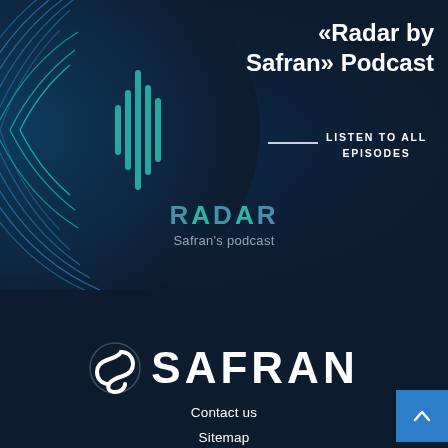[Figure (illustration): Dark blue background with concentric radar wave arcs in blue and teal emanating from the left side, with a vertical waveform bar in the center-left area]
«Radar by Safran» Podcast
LISTEN TO ALL EPISODES
RADAR
Safran's podcast
[Figure (logo): Safran logo: stylized S symbol followed by SAFRAN wordmark in white on dark blue background]
Contact us
Sitemap
Privacy notice
Legal notice